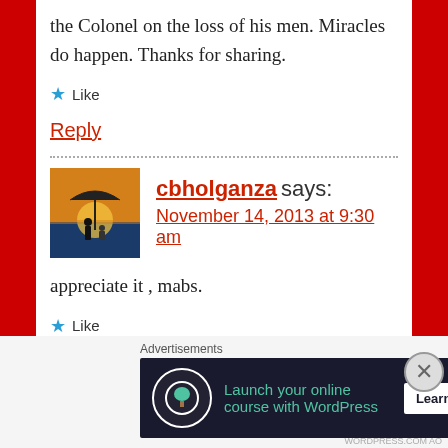the Colonel on the loss of his men. Miracles do happen. Thanks for sharing.
★ Like
Reply
cbholganza says:
November 14, 2013 at 9:30 am
appreciate it , mabs.
★ Like
[Figure (screenshot): Avatar photo of commenter cbholganza showing two silhouettes under an umbrella at sunset]
Advertisements
[Figure (infographic): Advertisement banner: Launch your online course with WordPress - Learn More button]